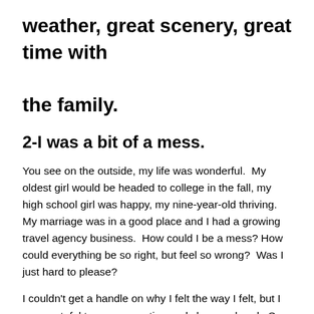weather, great scenery, great time with the family.
2-I was a bit of a mess.
You see on the outside, my life was wonderful.  My oldest girl would be headed to college in the fall, my high school girl was happy, my nine-year-old thriving.  My marriage was in a good place and I had a growing travel agency business.  How could I be a mess? How could everything be so right, but feel so wrong?  Was I just hard to please?
I couldn't get a handle on why I felt the way I felt, but I was grateful to go on vacation and clear my head.  So on the very first morning, I got up early and had a chat with God.